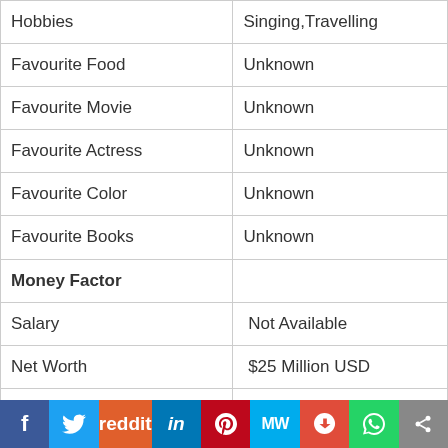| Hobbies | Singing,Travelling |
| Favourite Food | Unknown |
| Favourite Movie | Unknown |
| Favourite Actress | Unknown |
| Favourite Color | Unknown |
| Favourite Books | Unknown |
| Money Factor |  |
| Salary | Not Available |
| Net Worth | $25 Million USD |
| Contact Address |  |
| Website | Not Available |
| E Mail Address | Not Available |